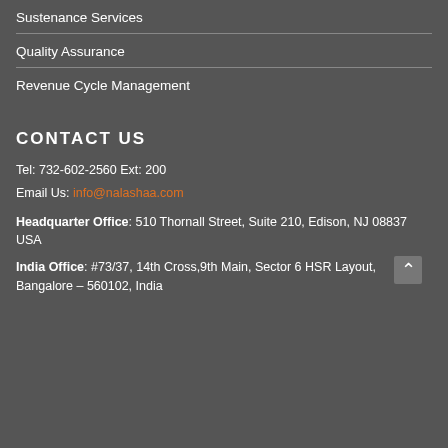Sustenance Services
Quality Assurance
Revenue Cycle Management
CONTACT US
Tel: 732-602-2560 Ext: 200
Email Us: info@nalashaa.com
Headquarter Office: 510 Thornall Street, Suite 210, Edison, NJ 08837 USA
India Office: #73/37, 14th Cross,9th Main, Sector 6 HSR Layout, Bangalore – 560102, India